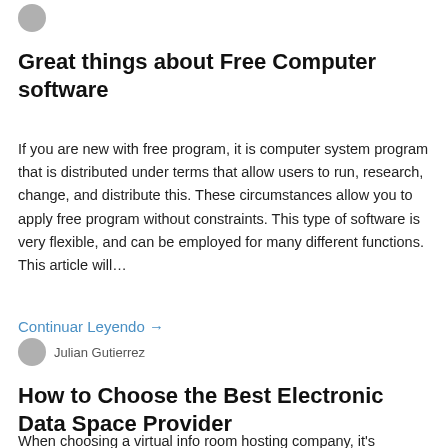[Figure (illustration): Small circular avatar icon at the top left, gray color]
Great things about Free Computer software
If you are new with free program, it is computer system program that is distributed under terms that allow users to run, research, change, and distribute this. These circumstances allow you to apply free program without constraints. This type of software is very flexible, and can be employed for many different functions. This article will…
Continuar Leyendo →
Julian Gutierrez
How to Choose the Best Electronic Data Space Provider
When choosing a virtual info room hosting company, it's important to try to find those with knowledge in equivalent